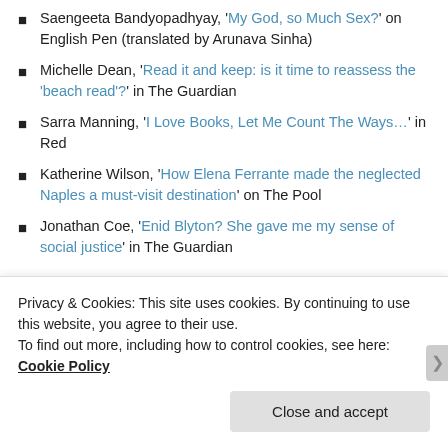Saengeeta Bandyopadhyay, 'My God, so Much Sex?' on English Pen (translated by Arunava Sinha)
Michelle Dean, 'Read it and keep: is it time to reassess the 'beach read'?' in The Guardian
Sarra Manning, 'I Love Books, Let Me Count The Ways…' in Red
Katherine Wilson, 'How Elena Ferrante made the neglected Naples a must-visit destination' on The Pool
Jonathan Coe, 'Enid Blyton? She gave me my sense of social justice' in The Guardian
Sarah Hilary, 'A Gift for Killing: Patricia Highsmith's legacy for today's crime writers' on Virago
Esther Allen, 'From the Translator: The Song …
Privacy & Cookies: This site uses cookies. By continuing to use this website, you agree to their use.
To find out more, including how to control cookies, see here: Cookie Policy
Close and accept